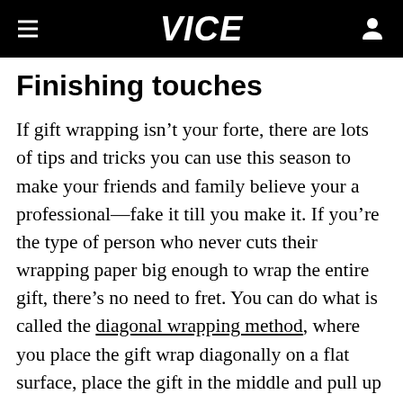VICE
Finishing touches
If gift wrapping isn't your forte, there are lots of tips and tricks you can use this season to make your friends and family believe your a professional—fake it till you make it. If you're the type of person who never cuts their wrapping paper big enough to wrap the entire gift, there's no need to fret. You can do what is called the diagonal wrapping method, where you place the gift wrap diagonally on a flat surface, place the gift in the middle and pull up each corner so it covers the entire gift.